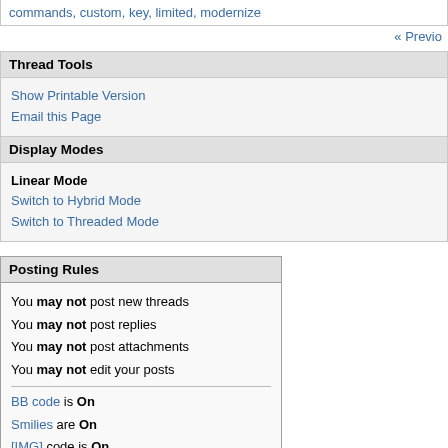commands, custom, key, limited, modernize
« Previo
Thread Tools
Show Printable Version
Email this Page
Display Modes
Linear Mode
Switch to Hybrid Mode
Switch to Threaded Mode
Posting Rules
You may not post new threads
You may not post replies
You may not post attachments
You may not edit your posts
BB code is On
Smilies are On
[IMG] code is On
HTML code is Off
Forum Rules
Similar Threads
| Thread | Thr |
| --- | --- |